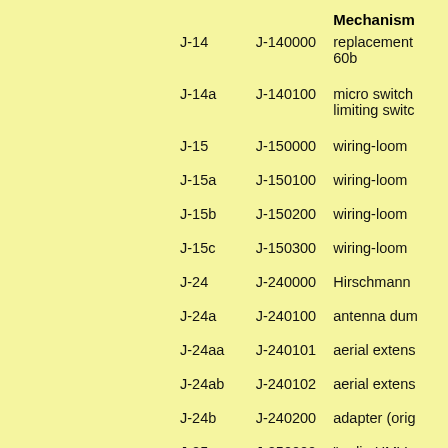|  |  | Mechanism |
| --- | --- | --- |
| J-14 | J-140000 | replacement 60b |
| J-14a | J-140100 | micro switch limiting switc |
| J-15 | J-150000 | wiring-loom |
| J-15a | J-150100 | wiring-loom |
| J-15b | J-150200 | wiring-loom |
| J-15c | J-150300 | wiring-loom |
| J-24 | J-240000 | Hirschmann |
| J-24a | J-240100 | antenna dum |
| J-24aa | J-240101 | aerial extens |
| J-24ab | J-240102 | aerial extens |
| J-24b | J-240200 | adapter (orig |
| J-25 | J-250000 | "radio HMV |